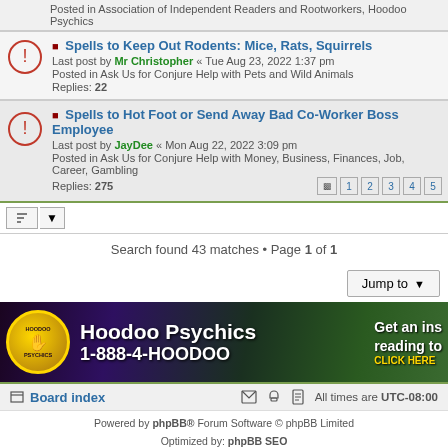Posted in Association of Independent Readers and Rootworkers, Hoodoo Psychics
Spells to Keep Out Rodents: Mice, Rats, Squirrels — Last post by Mr Christopher « Tue Aug 23, 2022 1:37 pm — Posted in Ask Us for Conjure Help with Pets and Wild Animals — Replies: 22
Spells to Hot Foot or Send Away Bad Co-Worker Boss Employee — Last post by JayDee « Mon Aug 22, 2022 3:09 pm — Posted in Ask Us for Conjure Help with Money, Business, Finances, Job, Career, Gambling — Replies: 275
Search found 43 matches • Page 1 of 1
Jump to
[Figure (infographic): Hoodoo Psychics advertisement banner with logo, phone number 1-888-4-HOODOO and 'Get an instant reading to... CLICK HERE']
Board index | All times are UTC-08:00
Powered by phpBB® Forum Software © phpBB Limited
Optimized by: phpBB SEO
Time: 0.120s | Queries: 13 | Peak Memory Usage: 5.02 MiB